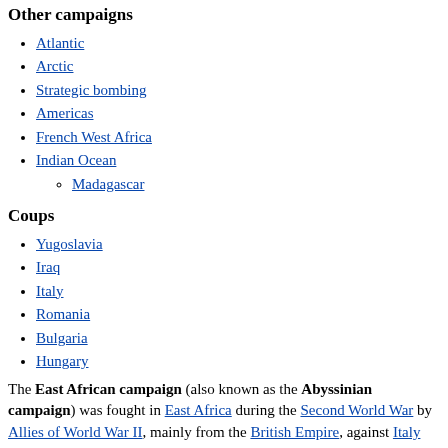Other campaigns
Atlantic
Arctic
Strategic bombing
Americas
French West Africa
Indian Ocean
Madagascar
Coups
Yugoslavia
Iraq
Italy
Romania
Bulgaria
Hungary
The East African campaign (also known as the Abyssinian campaign) was fought in East Africa during the Second World War by Allies of World War II, mainly from the British Empire, against Italy and its colony of Italian East Africa, between June 1940 and November 1941. The British Middle East Command with troops from the United Kingdom, South Africa, British India,